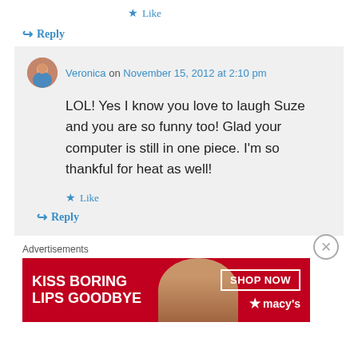★ Like
↪ Reply
Veronica on November 15, 2012 at 2:10 pm
LOL! Yes I know you love to laugh Suze and you are so funny too! Glad your computer is still in one piece. I'm so thankful for heat as well!
★ Like
↪ Reply
Advertisements
[Figure (photo): Macy's advertisement banner: KISS BORING LIPS GOODBYE with SHOP NOW button and Macy's logo, showing a woman's face with red lips]